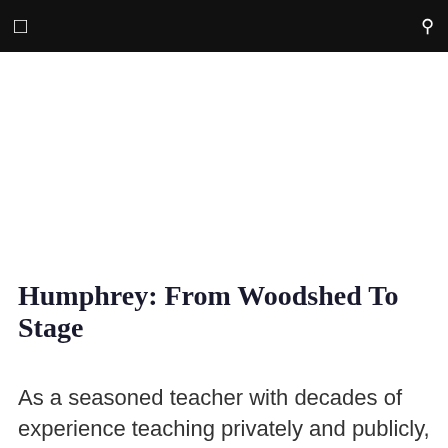☰  🔍
Humphrey: From Woodshed To Stage
As a seasoned teacher with decades of experience teaching privately and publicly, Humphrey understands the importance of application in the practice conductors